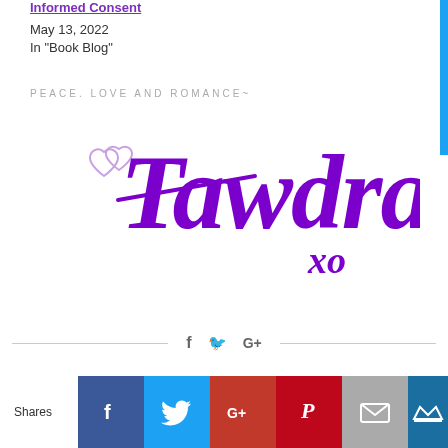Informed Consent
May 13, 2022
In "Book Blog"
PEACE. LOVE AND ROMANCE~
[Figure (illustration): Tawdra signature logo in purple cursive with two interlinked hearts and 'xo' below]
[Figure (infographic): Social share row with Facebook, Twitter, Google+, Pinterest, Email, and crown icon buttons]